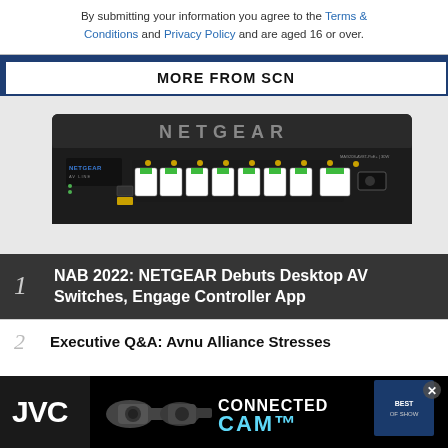By submitting your information you agree to the Terms & Conditions and Privacy Policy and are aged 16 or over.
MORE FROM SCN
[Figure (photo): NETGEAR AV over IP desktop switch with multiple ethernet ports and SFP port, front panel view on dark background]
1 NAB 2022: NETGEAR Debuts Desktop AV Switches, Engage Controller App
2 Executive Q&A: Avnu Alliance Stresses
[Figure (photo): JVC Connected Cam advertisement banner with PTZ cameras]